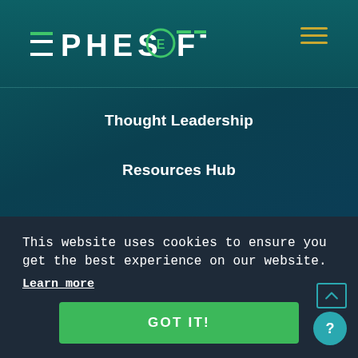[Figure (logo): Ephesoft logo in white text with circular E icon, on dark teal header background]
Thought Leadership
Resources Hub
GET HELP
Customer Support
This website uses cookies to ensure you get the best experience on our website.
Learn more
GOT IT!